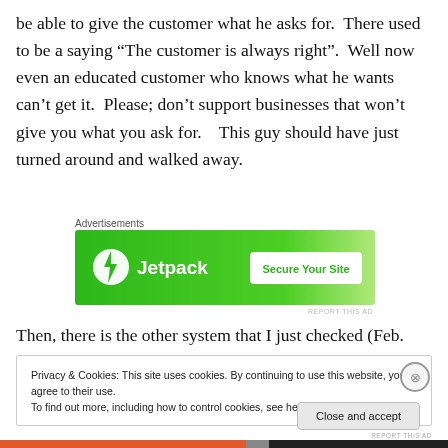be able to give the customer what he asks for. There used to be a saying “The customer is always right”. Well now even an educated customer who knows what he wants can’t get it. Please; don’t support businesses that won’t give you what you ask for. This guy should have just turned around and walked away.
[Figure (other): Jetpack advertisement banner with green background and 'Secure Your Site' button]
Then, there is the other system that I just checked (Feb.
Privacy & Cookies: This site uses cookies. By continuing to use this website, you agree to their use.
To find out more, including how to control cookies, see here: Cookie Policy